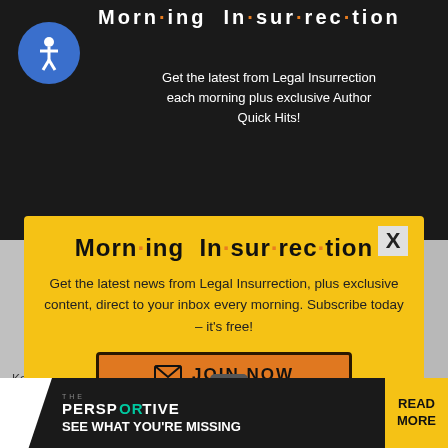[Figure (screenshot): Morning Insurrection newsletter popup modal overlaying a website. Dark top banner with wheelchair accessibility icon and 'Morn·ing In·sur·rec·tion' title on black background. Yellow modal popup with bold stylized title 'Morn·ing In·sur·rec·tion', subscription text, and orange JOIN NOW button. Bottom shows partial article content with author names, a small X close button, and a dark advertisement bar with 'THE PERSPECTIVE – SEE WHAT YOU'RE MISSING – READ MORE'.]